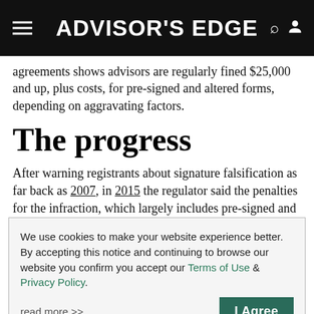ADVISOR'S EDGE
agreements shows advisors are regularly fined $25,000 and up, plus costs, for pre-signed and altered forms, depending on aggravating factors.
The progress
After warning registrants about signature falsification as far back as 2007, in 2015 the regulator said the penalties for the infraction, which largely includes pre-signed and altered
We use cookies to make your website experience better. By accepting this notice and continuing to browse our website you confirm you accept our Terms of Use & Privacy Policy.

read more >>

I Agree
for advisors, Fabello said.